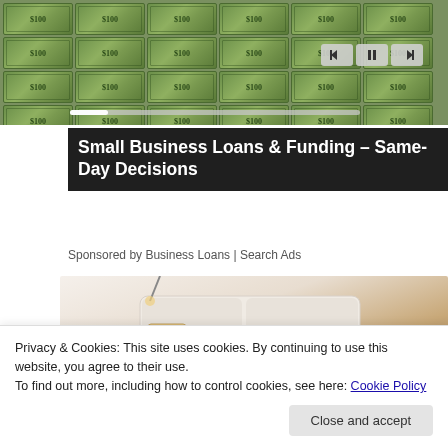[Figure (photo): Photo of stacked US $100 bills arranged in rows with video player controls overlay]
Small Business Loans & Funding – Same-Day Decisions
Sponsored by Business Loans | Search Ads
[Figure (photo): Photo of a high-tech smart sofa/bed with speakers, massage rollers, and built-in features]
Privacy & Cookies: This site uses cookies. By continuing to use this website, you agree to their use.
To find out more, including how to control cookies, see here: Cookie Policy
Close and accept